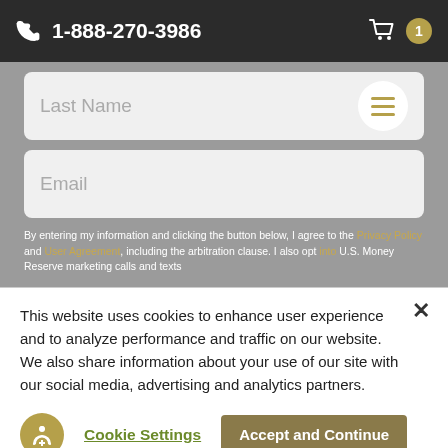1-888-270-3986
Last Name
Email
By entering my information and clicking the button below, I agree to the Privacy Policy and User Agreement, including the arbitration clause. I also opt into U.S. Money Reserve marketing calls and texts
This website uses cookies to enhance user experience and to analyze performance and traffic on our website. We also share information about your use of our site with our social media, advertising and analytics partners.
Cookie Settings
Accept and Continue